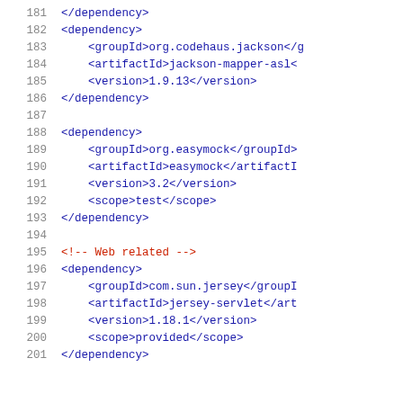181    </dependency>
182    <dependency>
183        <groupId>org.codehaus.jackson</g
184        <artifactId>jackson-mapper-asl<
185        <version>1.9.13</version>
186    </dependency>
187
188    <dependency>
189        <groupId>org.easymock</groupId>
190        <artifactId>easymock</artifactI
191        <version>3.2</version>
192        <scope>test</scope>
193    </dependency>
194
195    <!-- Web related -->
196    <dependency>
197        <groupId>com.sun.jersey</groupI
198        <artifactId>jersey-servlet</art
199        <version>1.18.1</version>
200        <scope>provided</scope>
201    </dependency>